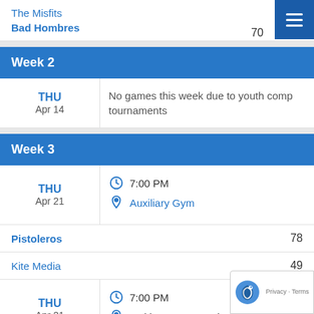The Misfits
Bad Hombres   70
Week 2
THU Apr 14  No games this week due to youth comp tournaments
Week 3
THU Apr 21  7:00 PM  Auxiliary Gym
Pistoleros 78
Kite Media 49
THU Apr 21  7:00 PM  Multi-Purpose North Gym